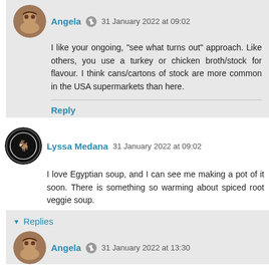Angela · 31 January 2022 at 09:02
I like your ongoing, "see what turns out" approach. Like others, you use a turkey or chicken broth/stock for flavour. I think cans/cartons of stock are more common in the USA supermarkets than here.
Reply
Lyssa Medana  31 January 2022 at 09:02
I love Egyptian soup, and I can see me making a pot of it soon. There is something so warming about spiced root veggie soup.
Reply
Replies
Angela · 31 January 2022 at 13:30